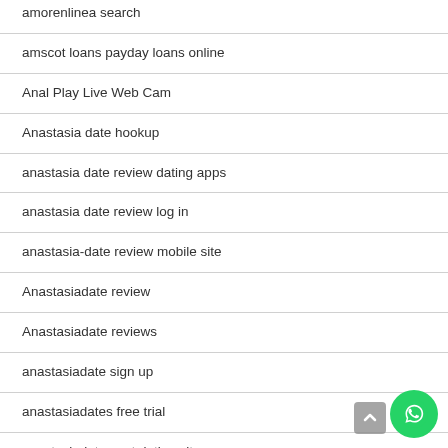amorenlinea search
amscot loans payday loans online
Anal Play Live Web Cam
Anastasia date hookup
anastasia date review dating apps
anastasia date review log in
anastasia-date review mobile site
Anastasiadate review
Anastasiadate reviews
anastasiadate sign up
anastasiadates free trial
anastasiadates net dating site
anastasiadates search